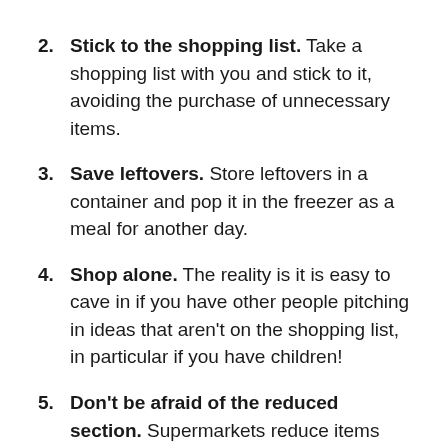2. Stick to the shopping list. Take a shopping list with you and stick to it, avoiding the purchase of unnecessary items.
3. Save leftovers. Store leftovers in a container and pop it in the freezer as a meal for another day.
4. Shop alone. The reality is it is easy to cave in if you have other people pitching in ideas that aren't on the shopping list, in particular if you have children!
5. Don't be afraid of the reduced section. Supermarkets reduce items that reach their sell by date. However, the use by date is often a few days later, meaning they are good to buy and eat.